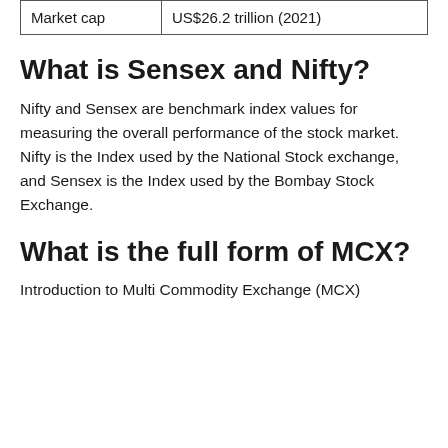| Market cap | US$26.2 trillion (2021) |
What is Sensex and Nifty?
Nifty and Sensex are benchmark index values for measuring the overall performance of the stock market. Nifty is the Index used by the National Stock exchange, and Sensex is the Index used by the Bombay Stock Exchange.
What is the full form of MCX?
Introduction to Multi Commodity Exchange (MCX)